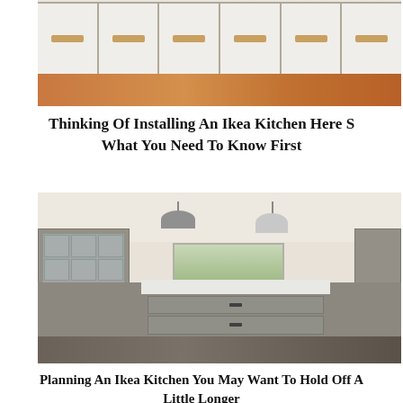[Figure (photo): Photo of white kitchen cabinets with gold/brass handles and wood floor visible at bottom]
Thinking Of Installing An Ikea Kitchen Here S What You Need To Know First
[Figure (photo): Photo of a large gray IKEA kitchen with island, pendant lights, glass-front cabinets, and wood floor]
Planning An Ikea Kitchen You May Want To Hold Off A Little Longer